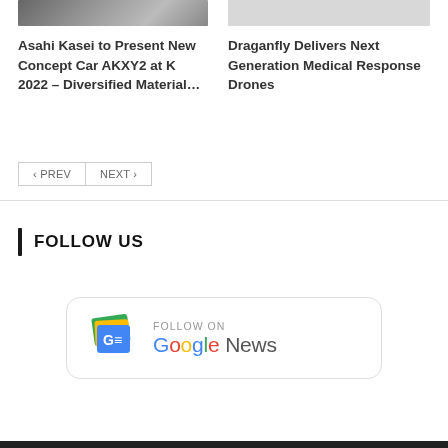[Figure (photo): Thumbnail image for article about Asahi Kasei concept car – dark/black image with product items]
Asahi Kasei to Present New Concept Car AKXY2 at K 2022 – Diversified Material…
[Figure (photo): Thumbnail image for article about Draganfly medical response drones – light gray image]
Draganfly Delivers Next Generation Medical Response Drones
< PREV   NEXT >
FOLLOW US
[Figure (logo): Follow on Google News button with Google News icon and text 'FOLLOW ON Google News']